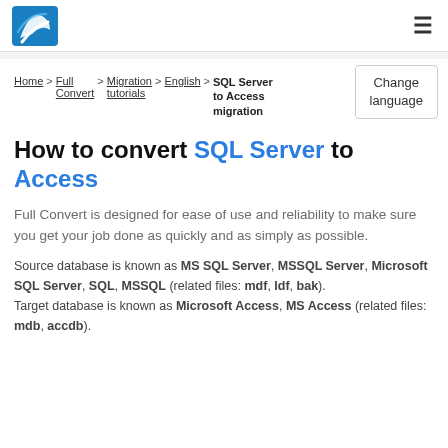Full Convert logo and navigation menu
Home > Full Convert > Migration tutorials > English > SQL Server to Access migration | Change language
How to convert SQL Server to Access
Full Convert is designed for ease of use and reliability to make sure you get your job done as quickly and as simply as possible.
Source database is known as MS SQL Server, MSSQL Server, Microsoft SQL Server, SQL, MSSQL (related files: mdf, ldf, bak). Target database is known as Microsoft Access, MS Access (related files: mdb, accdb).